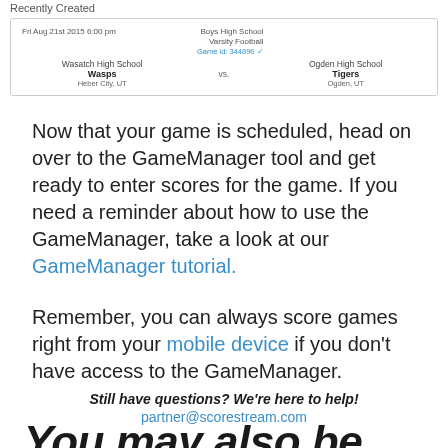Recently Created
| Date | Home | VS | Away | Game ID |
| --- | --- | --- | --- | --- |
| Fri Aug 21st 2015 6:00 pm | Wasatch High School / Wasps / Heber City, UT | vs. | Boys High School Varsity Football / Ogden High School / Tigers / Ogden, UT | Game id: 344696 |
Now that your game is scheduled, head on over to the GameManager tool and get ready to enter scores for the game. If you need a reminder about how to use the GameManager, take a look at our GameManager tutorial.
Remember, you can always score games right from your mobile device if you don't have access to the GameManager.
Still have questions? We're here to help! partner@scorestream.com
You may also be